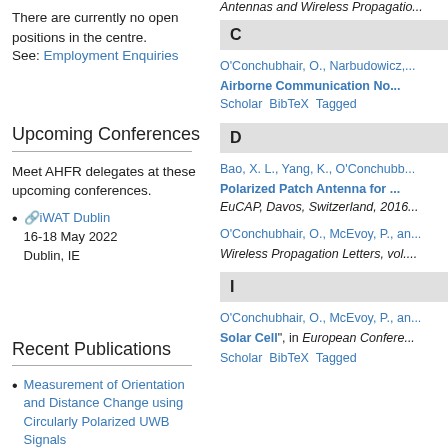There are currently no open positions in the centre.
See: Employment Enquiries
Upcoming Conferences
Meet AHFR delegates at these upcoming conferences.
iWAT Dublin
16-18 May 2022
Dublin, IE
Recent Publications
Measurement of Orientation and Distance Change using Circularly Polarized UWB Signals
Energy-Efficient Dynamic
Antennas and Wireless Propagatio...
C
O'Conchubhair, O., Narbudowicz, ...
Airborne Communication No...
Scholar  BibTeX  Tagged
D
Bao, X. L., Yang, K., O'Conchubb...
Polarized Patch Antenna for ...
EuCAP, Davos, Switzerland, 2016...
O'Conchubhair, O., McEvoy, P., an...
Wireless Propagation Letters, vol....
I
O'Conchubhair, O., McEvoy, P., an...
Solar Cell", in European Confere...
Scholar  BibTeX  Tagged